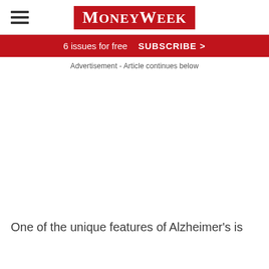MoneyWeek
6 issues for free  SUBSCRIBE >
Advertisement - Article continues below
One of the unique features of Alzheimer's is